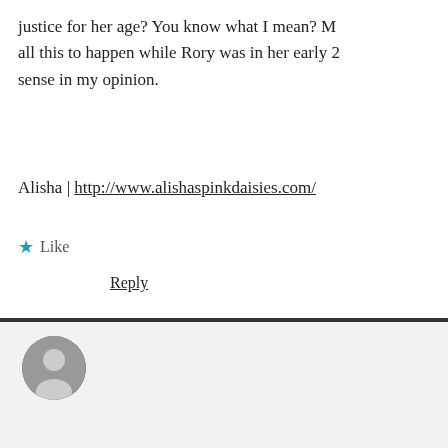justice for her age? You know what I mean? M all this to happen while Rory was in her early 2 sense in my opinion.
Alisha | http://www.alishaspinkdaisies.com/
★ Like
Reply
haileyjaderyan says: February 8, 2017 at 2:16 pm
I think a lot of people felt that way. I to be so confused and without any ic because I'm pretty much her age an her situation (minus the whole pregg super hard sometimes. Even if you'r always work out. I guess it just wasn